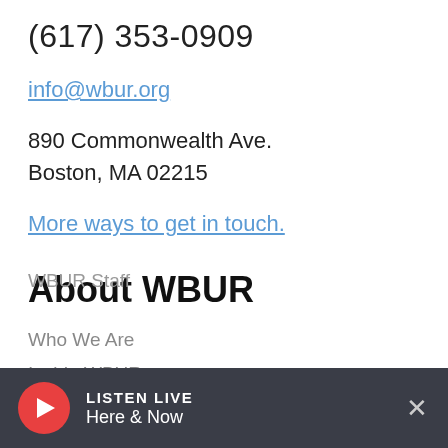(617) 353-0909
info@wbur.org
890 Commonwealth Ave.
Boston, MA 02215
More ways to get in touch.
About WBUR
Who We Are
Inside WBUR
Careers
WBUR Staff
LISTEN LIVE Here & Now